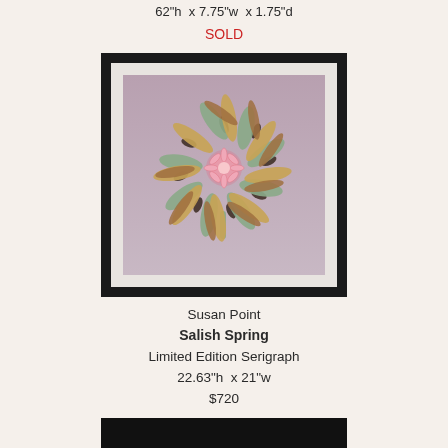62"h x 7.75"w x 1.75"d
SOLD
[Figure (photo): Framed artwork showing a stylized floral/botanical mandala design with leaves in green, gold, and brown radiating from a pink star-shaped flower center, on a mauve/dusty rose background, in a black frame with white mat]
Susan Point
Salish Spring
Limited Edition Serigraph
22.63"h x 21"w
$720
[Figure (photo): Bottom portion of another artwork, mostly black/dark]